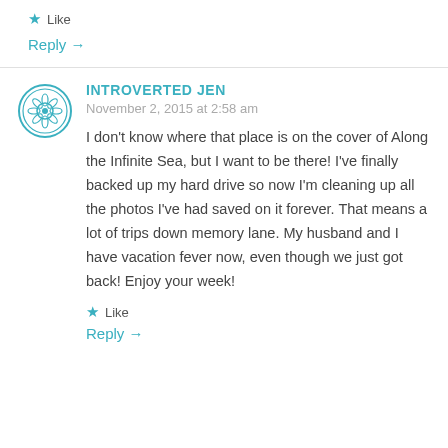★ Like
Reply →
INTROVERTED JEN
November 2, 2015 at 2:58 am
I don't know where that place is on the cover of Along the Infinite Sea, but I want to be there! I've finally backed up my hard drive so now I'm cleaning up all the photos I've had saved on it forever. That means a lot of trips down memory lane. My husband and I have vacation fever now, even though we just got back! Enjoy your week!
★ Like
Reply →